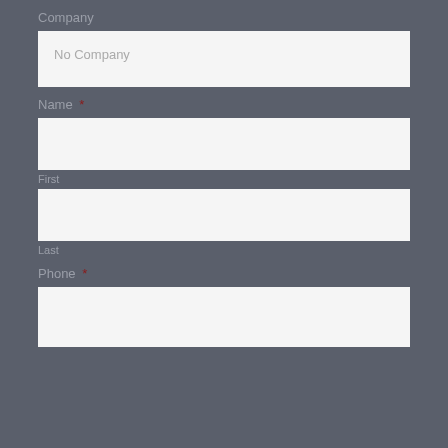Company
No Company
Name *
First
Last
Phone *